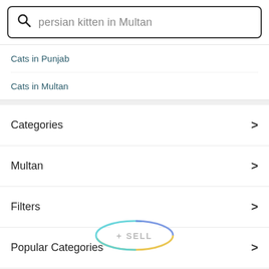persian kitten in Multan
Cats in Punjab
Cats in Multan
Categories
Multan
Filters
Popular Categories
Trending Searches
[Figure (other): + SELL button with colorful oval border (cyan, yellow, blue gradient)]